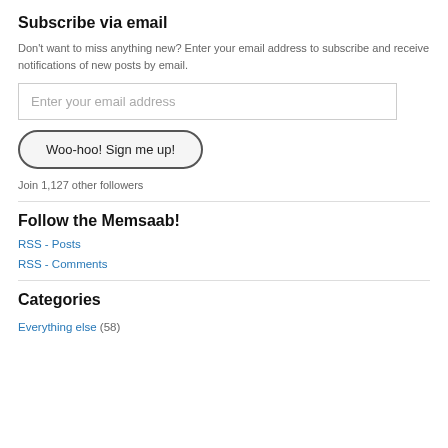Subscribe via email
Don't want to miss anything new? Enter your email address to subscribe and receive notifications of new posts by email.
Enter your email address
Woo-hoo! Sign me up!
Join 1,127 other followers
Follow the Memsaab!
RSS - Posts
RSS - Comments
Categories
Everything else (58)